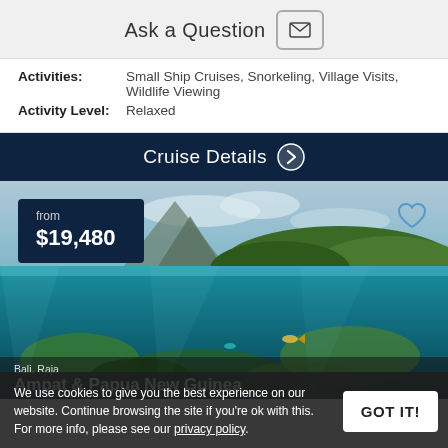Ask a Question
| Activities: | Small Ship Cruises, Snorkeling, Village Visits, Wildlife Viewing |
| Activity Level: | Relaxed |
Cruise Details →
[Figure (photo): Underwater split-shot photo showing a tropical coral reef below and a lush green island with mountain in the background above water. Price badge showing 'from $19,480' in bottom-left corner, heart icon in top-right.]
We use cookies to give you the best experience on our website. Continue browsing the site if you're ok with this. For more info, please see our privacy policy.
GOT IT!
...Bali, Raja Ampat & Papua New Guinea